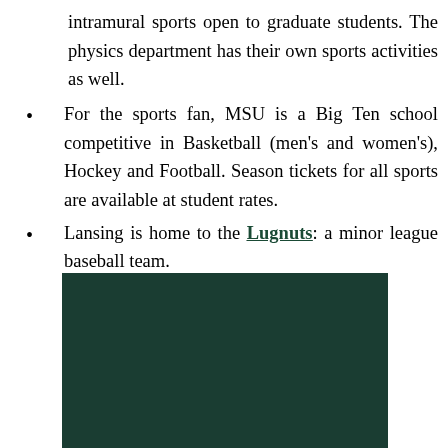intramural sports open to graduate students. The physics department has their own sports activities as well.
For the sports fan, MSU is a Big Ten school competitive in Basketball (men's and women's), Hockey and Football. Season tickets for all sports are available at student rates.
Lansing is home to the Lugnuts: a minor league baseball team.
[Figure (photo): Dark green rectangular image block, likely a photo of a sports venue or MSU-related imagery.]